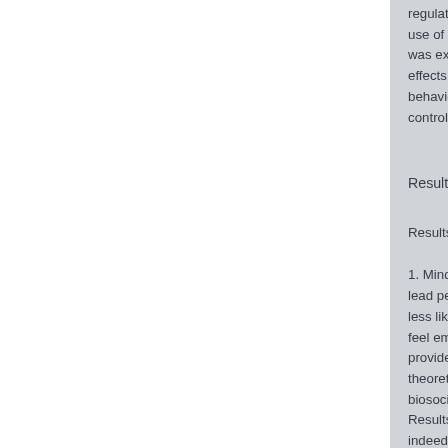regulate intense leve use of avoidance as was expected to hav effects (i.e. increase behaviours and decr control emotional exp
Results and Implicat
Results indicated tha
1. Mindfulness is a h lead people diagnose less likely to behave feel emotionally out c provides evidence in theoretical assumptio biosocial model that Results suggest that indeed a 'core skill' t fostered in people wh difficulties consistent could help to reduce difficulties.